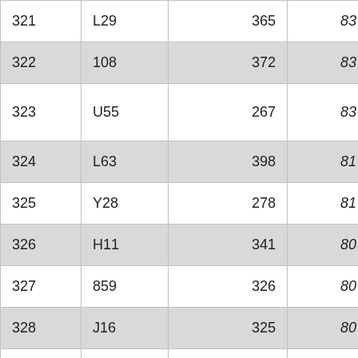| 321 | L29 | 365 | 83 | 4.40 |
| 322 | 108 | 372 | 83 | 4.48 |
| 323 | U55 | 267 | 83 | 3.22 |
| 324 | L63 | 398 | 81 | 4.91 |
| 325 | Y28 | 278 | 81 | 3.43 |
| 326 | H11 | 341 | 80 | 4.26 |
| 327 | 859 | 326 | 80 | 4.07 |
| 328 | J16 | 325 | 80 | 4.06 |